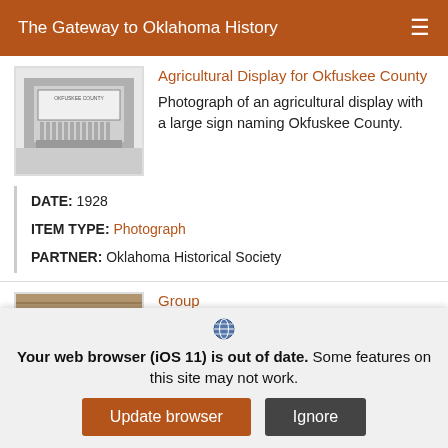The Gateway to Oklahoma History
Agricultural Display for Okfuskee County
Photograph of an agricultural display with a large sign naming Okfuskee County.
DATE: 1928
ITEM TYPE: Photograph
PARTNER: Oklahoma Historical Society
Group
Photograph of L to R:
Your web browser (iOS 11) is out of date. Some features on this site may not work.